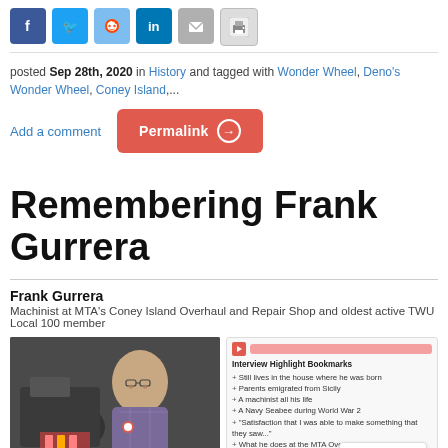[Figure (infographic): Social media sharing icons: Facebook, Twitter, Reddit, LinkedIn, Email, Print]
posted Sep 28th, 2020 in History and tagged with Wonder Wheel, Deno's Wonder Wheel, Coney Island,...
Add a comment   Permalink →
Remembering Frank Gurrera
Frank Gurrera
Machinist at MTA's Coney Island Overhaul and Repair Shop and oldest active TWU Local 100 member
[Figure (photo): Photo of Frank Gurrera, an elderly man sitting in front of machinery]
[Figure (screenshot): Video player panel with Interview Highlight Bookmarks listing topics: Still lives in the house where he was born, Parents emigrated from Sicily, A machinist all his life, A Navy Seabee during World War 2, Satisfaction that I was able to make something that they saw..., What he does at the MTA Overhaul Shop, When people ask 'Why don't you retire?', Thinking of the past, Punching in at 5:30AM, Why he will not work in a non-union shop, '38 years, a lot of good people...']
Frank Gurrera, 84, has a knack for MTA's Coney Island Overhaul and Repair